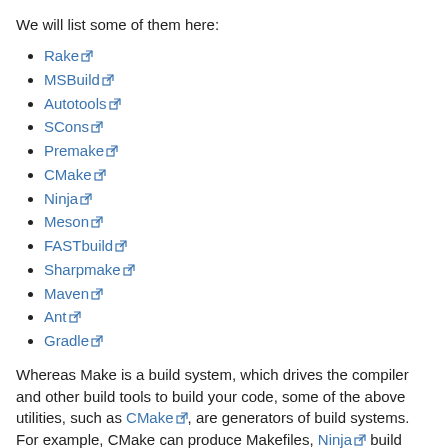We will list some of them here:
Rake
MSBuild
Autotools
SCons
Premake
CMake
Ninja
Meson
FASTbuild
Sharpmake
Maven
Ant
Gradle
Whereas Make is a build system, which drives the compiler and other build tools to build your code, some of the above utilities, such as CMake, are generators of build systems. For example, CMake can produce Makefiles, Ninja build files,